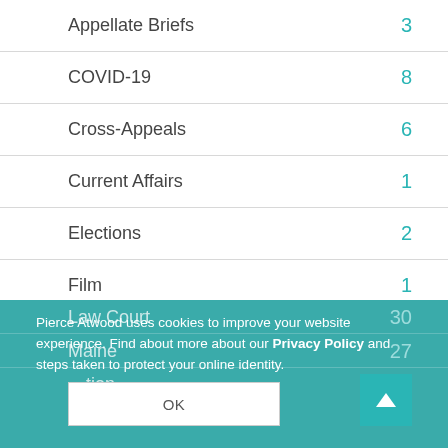Appellate Briefs 3
COVID-19 8
Cross-Appeals 6
Current Affairs 1
Elections 2
Film 1
First Circuit 7
Law Court 30
Maine 27
Pierce Atwood uses cookies to improve your website experience. Find about more about our Privacy Policy and steps taken to protect your online identity.
OK